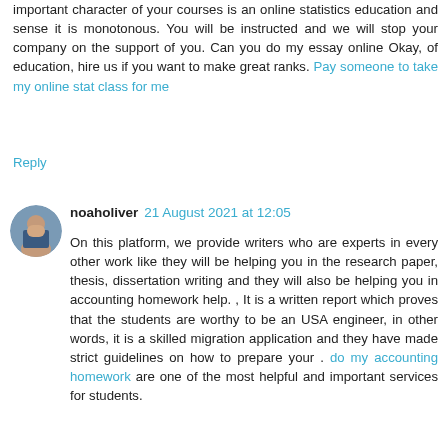important character of your courses is an online statistics education and sense it is monotonous. You will be instructed and we will stop your company on the support of you. Can you do my essay online Okay, of education, hire us if you want to make great ranks. Pay someone to take my online stat class for me
Reply
noaholiver 21 August 2021 at 12:05
On this platform, we provide writers who are experts in every other work like they will be helping you in the research paper, thesis, dissertation writing and they will also be helping you in accounting homework help. , It is a written report which proves that the students are worthy to be an USA engineer, in other words, it is a skilled migration application and they have made strict guidelines on how to prepare your . do my accounting homework are one of the most helpful and important services for students.
Reply